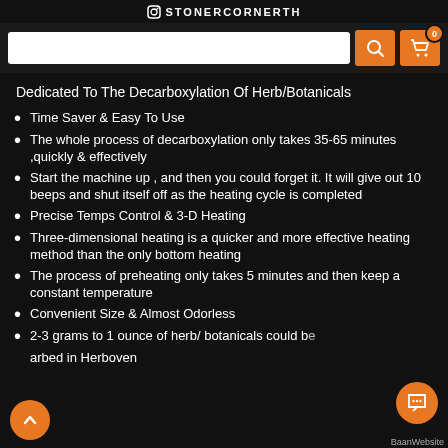STONERCORNERTH
Dedicated To The Decarboxylation Of Herb/Botanicals
Time Saver & Easy To Use
The whole process of decarboxylation only takes 35-65 minutes ,quickly & effectively
Start the machine up , and then you could forget it. It will give out 10 beeps and shut itself off as the heating cycle is completed
Precise Temps Control & 3-D Heating
Three-dimensional heating is a quicker and more effective heating method than the only bottom heating
The process of preheating only takes 5 minutes and then keep a constant temperature
Convenient Size & Almost Odorless
2-3 grams to 1 ounce of herb/ botanicals could be arbed in Herboven
BaanWebsite